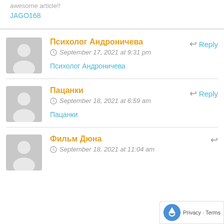awesome article!!
JAGO168
Психолог Андроничева
September 17, 2021 at 9:31 pm
Reply
Психолог Андроничева
Пацанки
September 18, 2021 at 6:59 am
Reply
Пацанки
Фильм Дюна
September 18, 2021 at 11:04 am
Reply